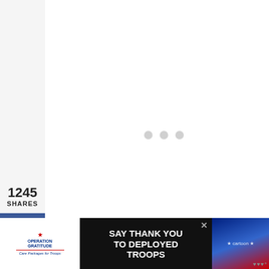[Figure (screenshot): White content area with three gray loading dots indicating content is loading]
1245
SHARES
[Figure (infographic): Social share sidebar with Facebook (blue), Twitter (cyan), Pinterest (red) icon buttons stacked vertically]
ave for later!
[Figure (infographic): Row of three share buttons: Facebook (dark blue with f icon), Twitter (sky blue with bird icon), Pinterest (red with P icon)]
[Figure (infographic): Floating social panel on right: teal heart button, share count showing 1245/1.2K SHARES, and a share+ circular button]
[Figure (screenshot): Ad banner at bottom: Operation Gratitude logo on left, SAY THANK YOU TO DEPLOYED TROOPS text in center, patriotic cartoon image on right, X close button, Tailwind logo watermark]